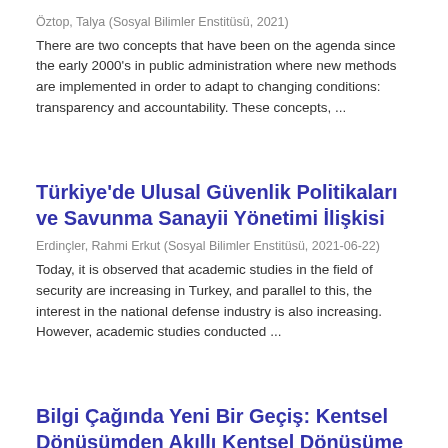Öztop, Talya (Sosyal Bilimler Enstitüsü, 2021)
There are two concepts that have been on the agenda since the early 2000's in public administration where new methods are implemented in order to adapt to changing conditions: transparency and accountability. These concepts, ...
Türkiye'de Ulusal Güvenlik Politikaları ve Savunma Sanayii Yönetimi İlişkisi
Erdinçler, Rahmi Erkut (Sosyal Bilimler Enstitüsü, 2021-06-22)
Today, it is observed that academic studies in the field of security are increasing in Turkey, and parallel to this, the interest in the national defense industry is also increasing. However, academic studies conducted ...
Bilgi Çağında Yeni Bir Geçiş: Kentsel Dönüşümden Akıllı Kentsel Dönüşüme
Dinç, Betül (Sosyal Bilimler Enstitüsü, 2020-07-01)
In his book, The Third Wave (1981), Alvin Toffler calls the information